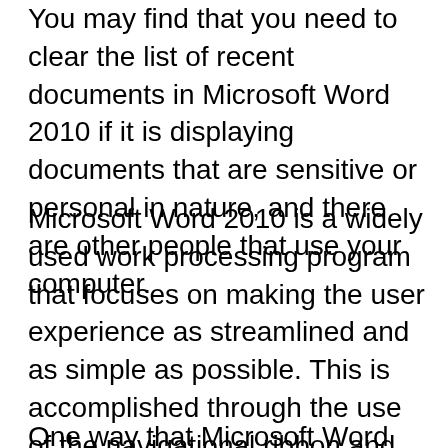You may find that you need to clear the list of recent documents in Microsoft Word 2010 if it is displaying documents that are sensitive or personal in nature, and there are other people that use your computer.
Microsoft Word 2010 is a widely used work processing program that focuses on making the user experience as streamlined and as simple as possible. This is accomplished through the use of the navigational ribbon and menus displayed at the top of the program, and through the multiple levels of customization that are possible with the program’s various options.
One way that Microsoft Word 2010 attempts to